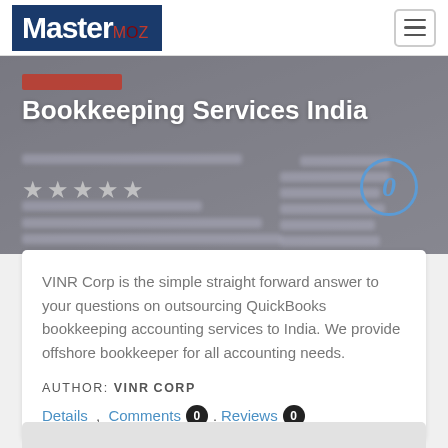MasterMOZ
[Figure (screenshot): Banner screenshot showing 'Bookkeeping Services India' heading with star ratings and a blue circle with 0]
Bookkeeping Services India
VINR Corp is the simple straight forward answer to your questions on outsourcing QuickBooks bookkeeping accounting services to India. We provide offshore bookkeeper for all accounting needs.
AUTHOR: VINRCORP
Details , Comments 0 . Reviews 0